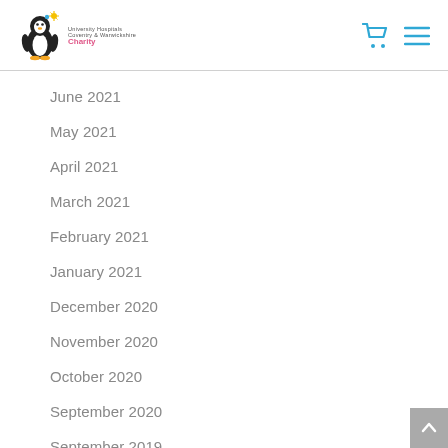University Hospitals Coventry & Warwickshire Charity
June 2021
May 2021
April 2021
March 2021
February 2021
January 2021
December 2020
November 2020
October 2020
September 2020
September 2019
July 2019